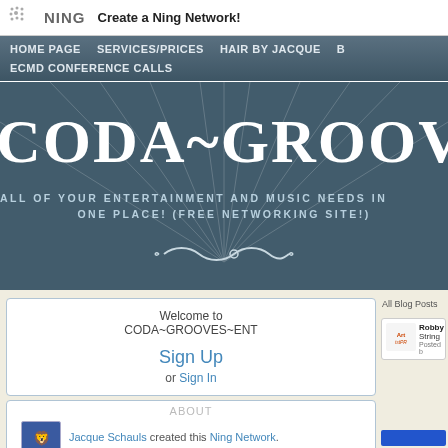NING  Create a Ning Network!
HOME PAGE   SERVICES/PRICES   HAIR BY JACQUE   B   ECMD CONFERENCE CALLS
[Figure (screenshot): Hero banner with large text CODA~GROOVES~E and subtitle ALL OF YOUR ENTERTAINMENT AND MUSIC NEEDS IN ONE PLACE! (FREE NETWORKING SITE!) on a dark blue-gray gradient background with ornamental divider]
Welcome to CODA~GROOVES~ENT
Sign Up or Sign In
ABOUT
Jacque Schauls created this Ning Network.
All Blog Posts  My Blog
Robby String Posted b